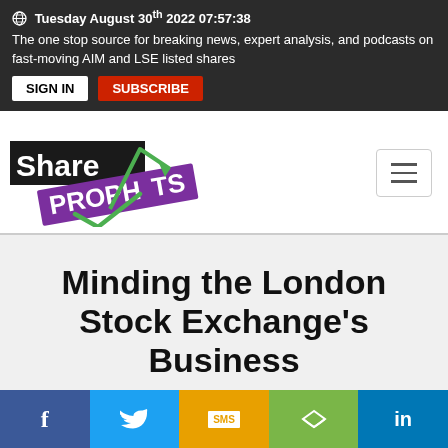Tuesday August 30th 2022 07:57:38
The one stop source for breaking news, expert analysis, and podcasts on fast-moving AIM and LSE listed shares
[Figure (logo): ShareProphets logo with green arrow and checkmark]
Minding the London Stock Exchange's Business
Independent and Fearless Financial
Social share bar: Facebook, Twitter, SMS, Share, LinkedIn